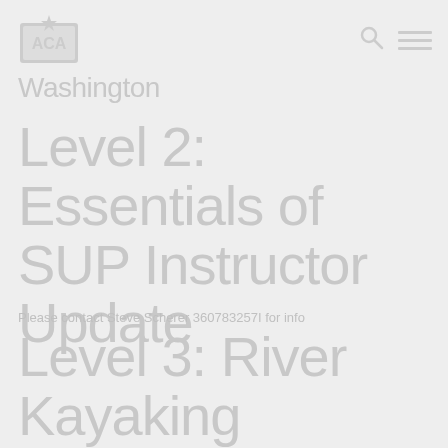ACA logo with search and menu icons
Washington
Level 2: Essentials of SUP Instructor Update
Please contact Steve Scherer 360783257I for info
Level 3: River Kayaking Instructor Certification Exam (ICE)